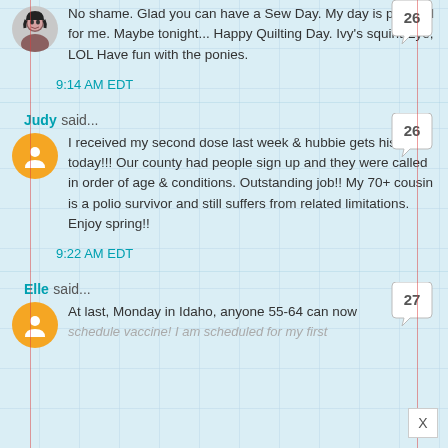No shame. Glad you can have a Sew Day. My day is planned for me. Maybe tonight... Happy Quilting Day. Ivy's squint Eye, LOL Have fun with the ponies.
9:14 AM EDT
Judy said...
I received my second dose last week & hubbie gets his today!!! Our county had people sign up and they were called in order of age & conditions. Outstanding job!! My 70+ cousin is a polio survivor and still suffers from related limitations. Enjoy spring!!
9:22 AM EDT
Elle said...
At last, Monday in Idaho, anyone 55-64 can now schedule vaccine! I am scheduled for my first